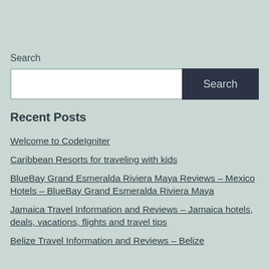Search
[Search input field with Search button]
Recent Posts
Welcome to CodeIgniter
Caribbean Resorts for traveling with kids
BlueBay Grand Esmeralda Riviera Maya Reviews – Mexico Hotels – BlueBay Grand Esmeralda Riviera Maya
Jamaica Travel Information and Reviews – Jamaica hotels, deals, vacations, flights and travel tips
Belize Travel Information and Reviews – Belize ...